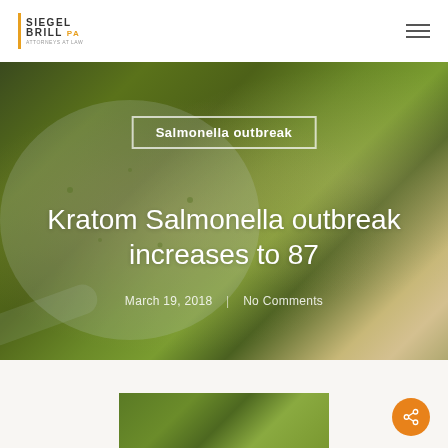SIEGEL BRILL PA — Attorney at Law
[Figure (photo): Hero background photo of green kratom powder in a measuring scoop, close-up shot with bokeh background]
Salmonella outbreak
Kratom Salmonella outbreak increases to 87
March 19, 2018  |  No Comments
[Figure (photo): Thumbnail photo of green kratom powder, partially visible at bottom of page]